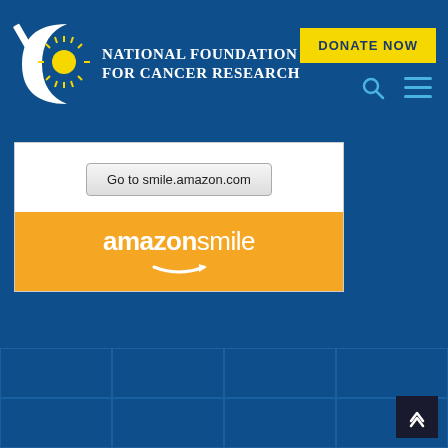[Figure (logo): National Foundation for Cancer Research logo with crescent and starburst icon]
NATIONAL FOUNDATION FOR CANCER RESEARCH
[Figure (other): DONATE NOW yellow button]
[Figure (other): Amazon Smile widget with 'Go to smile.amazon.com' button and amazonsmile logo on orange background]
[Figure (other): Grid of thumbnail images on dark blue background]
[Figure (other): Back to top button, dark square with up chevron]